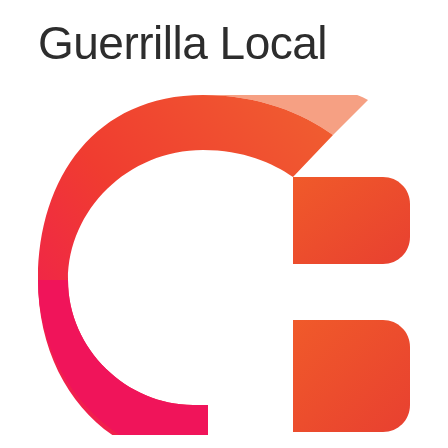Guerrilla Local
[Figure (logo): Guerrilla Local logo: a stylized letter G shape formed by a large curved arc on the left transitioning from hot pink at the bottom to orange-red at the top, and a smaller right-angle notch on the right in orange-red, creating a bold geometric G mark with a pink-to-orange gradient.]